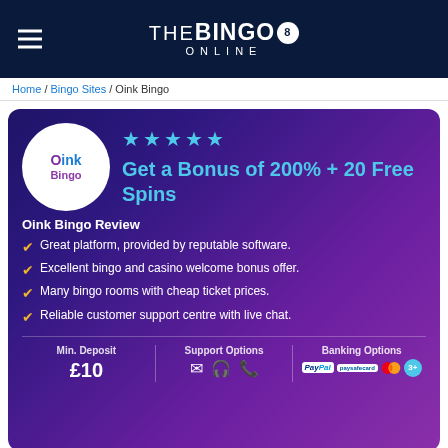THE BINGO ONLINE
Home / Bingo Sites / Oink Bingo
[Figure (infographic): Oink Bingo review card with purple gradient background, logo circle, star rating, bonus offer, checklist, and payment info]
Get a Bonus of 200% + 20 Free Spins
Great platform, provided by reputable software.
Excellent bingo and casino welcome bonus offer.
Many bingo rooms with cheap ticket prices.
Reliable customer support centre with live chat.
Min. Deposit £10
Support Options
Banking Options: PayPal, paysafecard, Mastercard, 3+